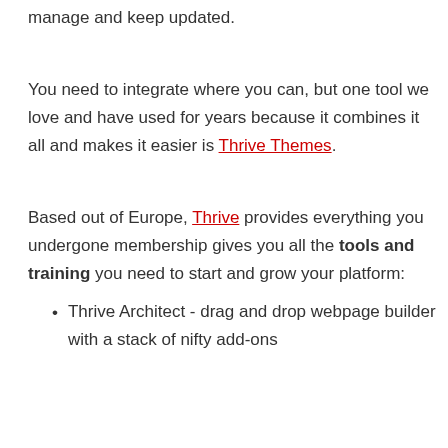manage and keep updated.
You need to integrate where you can, but one tool we love and have used for years because it combines it all and makes it easier is Thrive Themes.
Based out of Europe, Thrive provides everything you undergone membership gives you all the tools and training you need to start and grow your platform:
Thrive Architect - drag and drop webpage builder with a stack of nifty add-ons